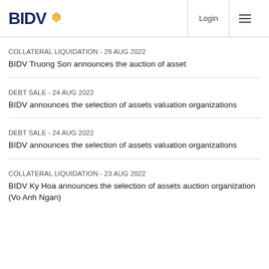BIDV | Login
COLLATERAL LIQUIDATION - 29 AUG 2022
BIDV Truong Son announces the auction of asset
DEBT SALE - 24 AUG 2022
BIDV announces the selection of assets valuation organizations
DEBT SALE - 24 AUG 2022
BIDV announces the selection of assets valuation organizations
COLLATERAL LIQUIDATION - 23 AUG 2022
BIDV Ky Hoa announces the selection of assets auction organization (Vo Anh Ngan)